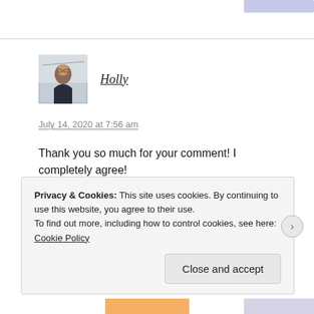[Figure (photo): Profile avatar photo of Holly, a woman with glasses]
Holly
July 14, 2020 at 7:56 am
Thank you so much for your comment! I completely agree!
Liked by 1 person
Privacy & Cookies: This site uses cookies. By continuing to use this website, you agree to their use.
To find out more, including how to control cookies, see here: Cookie Policy
Close and accept